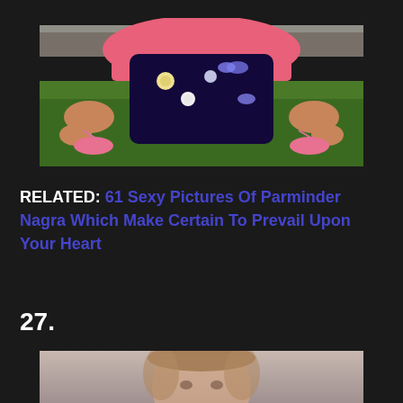[Figure (photo): A person wearing a pink top and dark floral dress crouching on grass near a stone bench, wearing pink strappy sandals]
RELATED: 61 Sexy Pictures Of Parminder Nagra Which Make Certain To Prevail Upon Your Heart
27.
[Figure (photo): A blonde woman photographed from the shoulders up against a neutral background]